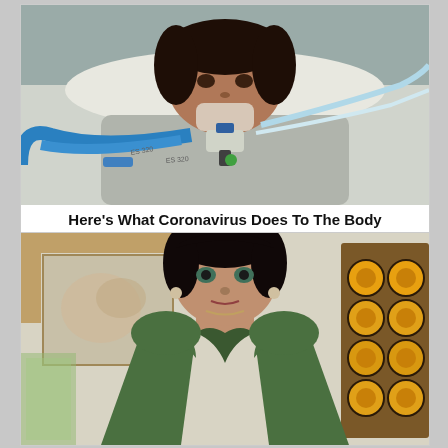[Figure (photo): Person lying in hospital bed connected to ventilator tubing and medical equipment]
Here's What Coronavirus Does To The Body
[Figure (photo): Woman in green low-cut dress posing indoors near decorative yellow circular stained glass window]